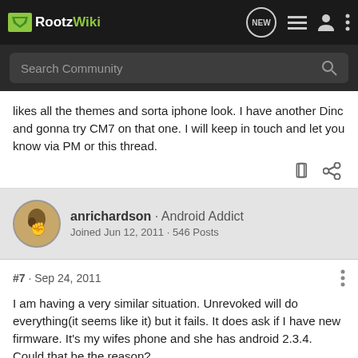RootzWiki
likes all the themes and sorta iphone look. I have another Dinc and gonna try CM7 on that one. I will keep in touch and let you know via PM or this thread.
anrichardson · Android Addict
Joined Jun 12, 2011 · 546 Posts
#7 · Sep 24, 2011
I am having a very similar situation. Unrevoked will do everything(it seems like it) but it fails. It does ask if I have new firmware. It's my wifes phone and she has android 2.3.4. Could that be the reason?